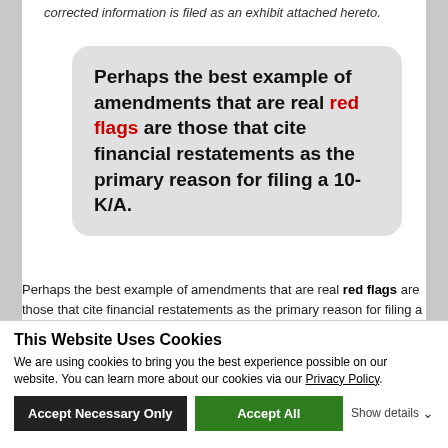corrected information is filed as an exhibit attached hereto.
Perhaps the best example of amendments that are real red flags are those that cite financial restatements as the primary reason for filing a 10-K/A.
Perhaps the best example of amendments that are real red flags are those that cite financial restatements as the primary reason for filing a 10-K/A. In many cases, material restatements would also be accompanied by material weakness in internal controls.
This Website Uses Cookies
We are using cookies to bring you the best experience possible on our website. You can learn more about our cookies via our Privacy Policy.
Accept Necessary Only  Accept All  Show details